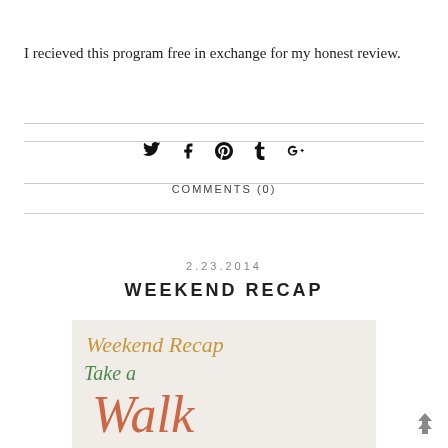I recieved this program free in exchange for my honest review.
COMMENTS (0)
2.23.2014
WEEKEND RECAP
[Figure (illustration): Blog post header image for Weekend Recap showing text 'Weekend Recap' in tan/gold italic font, 'Take a' in green italic font, and 'Walk' in large orange/red cursive font on a light beige background.]